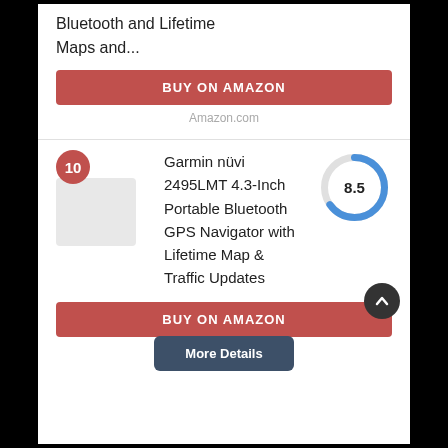Bluetooth and Lifetime Maps and...
BUY ON AMAZON
Amazon.com
10
Garmin nüvi 2495LMT 4.3-Inch Portable Bluetooth GPS Navigator with Lifetime Map & Traffic Updates
[Figure (donut-chart): Score]
BUY ON AMAZON
Amazon.com
More Details